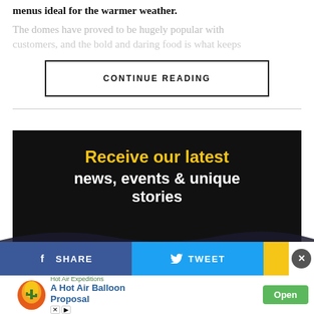menus ideal for the warmer weather.
The domes have proved to be hugely popular with
CONTINUE READING
[Figure (infographic): Black newsletter signup box with text 'Receive our latest news, events & unique stories' and email input field]
[Figure (infographic): Social share bar with Facebook SHARE button and Twitter TWEET button with wave graphic and close button]
[Figure (infographic): Hot Air Expeditions ad banner: A Hot Air Balloon Proposal, with Open button]